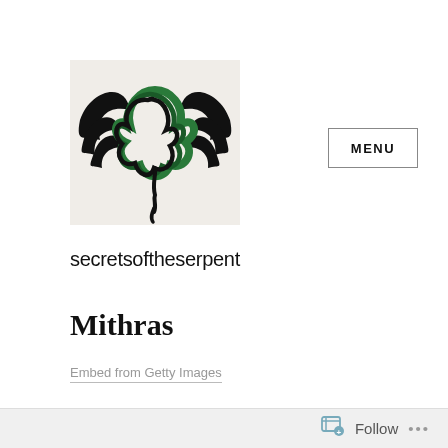[Figure (logo): A Celtic knot / serpent tribal logo with black wings and green interlaced knotwork center]
MENU
secretsoftheserpent
Mithras
Embed from Getty Images
Follow ...